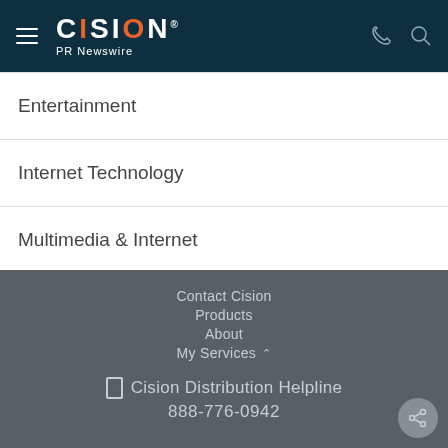CISION PR Newswire
Entertainment
Internet Technology
Multimedia & Internet
Contact Cision
Products
About
My Services
Cision Distribution Helpline
888-776-0942